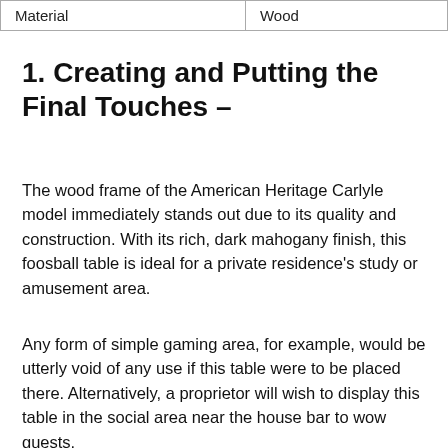| Material | Wood |
1. Creating and Putting the Final Touches –
The wood frame of the American Heritage Carlyle model immediately stands out due to its quality and construction. With its rich, dark mahogany finish, this foosball table is ideal for a private residence's study or amusement area.
Any form of simple gaming area, for example, would be utterly void of any use if this table were to be placed there. Alternatively, a proprietor will wish to display this table in the social area near the house bar to wow guests.